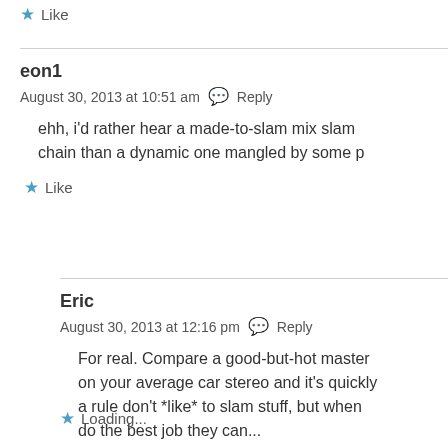Like
eon1
August 30, 2013 at 10:51 am   Reply
ehh, i'd rather hear a made-to-slam mix slam chain than a dynamic one mangled by some p
Like
Eric
August 30, 2013 at 12:16 pm   Reply
For real. Compare a good-but-hot master on your average car stereo and it's quickly a rule don't *like* to slam stuff, but when do the best job they can...
Loading...